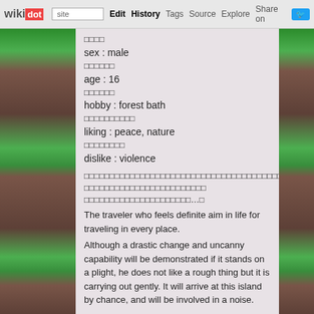wikidot | Edit | History | Tags | Source | Explore | Share on Twitter
□□□□
sex : male
□□□□□□
age : 16
□□□□□□
hobby : forest bath
□□□□□□□□□□
liking : peace, nature
□□□□□□□□
dislike : violence
□□□□□□□□□□□□□□□□□□□□□□□□□□□□□□□□□□□□□□□□□□
□□□□□□□□□□□□□□□□□□□□□□□□
□□□□□□□□□□□□□□□□□□□□□…□
The traveler who feels definite aim in life for traveling in every place.
Although a drastic change and uncanny capability will be demonstrated if it stands on a plight, he does not like a rough thing but it is carrying out gently. It will arrive at this island by chance, and will be involved in a noise.
VECTOR THE CROCODILE
□□□□□□□□□□□□
□□□□
sex : male
□□□□□□